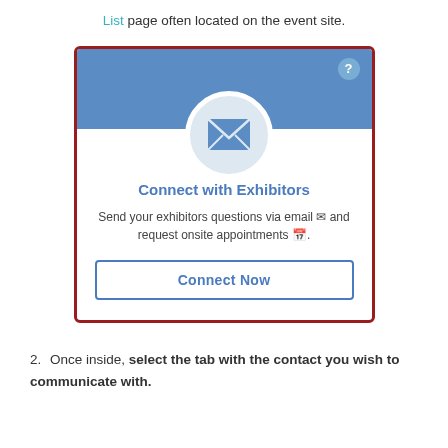List page often located on the event site.
[Figure (screenshot): A UI card widget with a blue header, envelope icon in a circle, title 'Connect with Exhibitors', description text, and a 'Connect Now' button. The card has a dark red border.]
2. Once inside, select the tab with the contact you wish to communicate with.